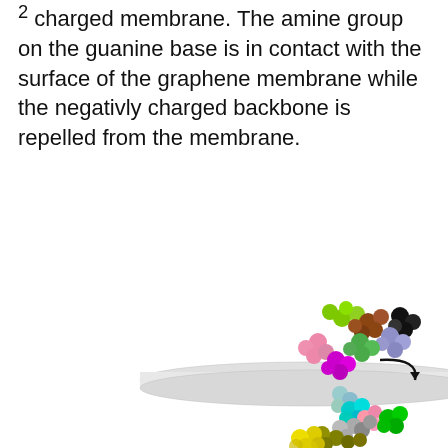² charged membrane. The amine group on the guanine base is in contact with the surface of the graphene membrane while the negativly charged backbone is repelled from the membrane.
[Figure (illustration): Molecular dynamics visualization showing a poly(dG)20 DNA strand threading through a graphene nanopore membrane. The DNA strand is shown as colored spheres (space-filling model) with various nucleotides colored differently (green, brown, pink, black, lavender, magenta, teal, cyan, gray, olive, yellow, dark yellow, green). A curved black arrow indicates translocation direction. The graphene membrane is shown as a horizontal light gray slab, with the DNA partially above and below it.]